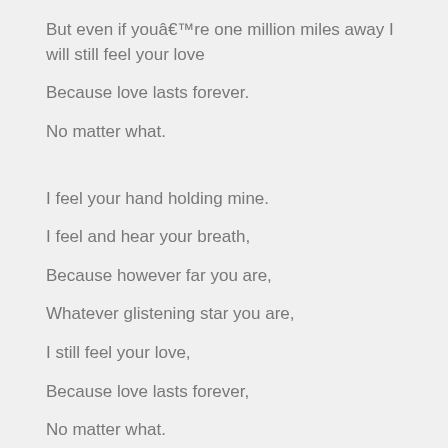But even if youâ€™re one million miles away I will still feel your love
Because love lasts forever.
No matter what.
I feel your hand holding mine.
I feel and hear your breath,
Because however far you are,
Whatever glistening star you are,
I still feel your love,
Because love lasts forever,
No matter what.